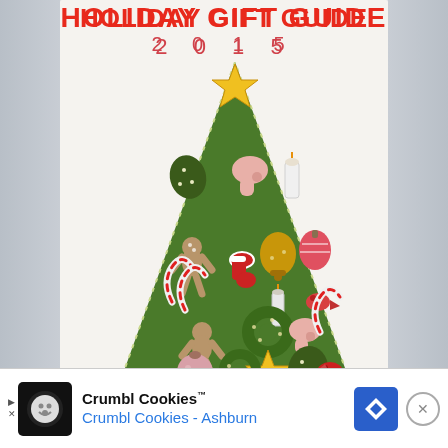HOLIDAY GIFT GUIDE 2015
[Figure (photo): A felt Christmas tree wall hanging decorated with various felt ornaments including gingerbread men, candy canes, stars, mittens, stockings, bells, candles, wreaths, ornament balls, and a bird. The tree is green with white dotted edging and has a yellow star on top. Background is light/blurred.]
[Figure (screenshot): Advertisement banner for Crumbl Cookies showing the Crumbl Cookies logo (black square with white cookie icon), brand name 'Crumbl Cookies™', and subtitle 'Crumbl Cookies - Ashburn' in blue text. Blue diamond navigation icon on the right, and a close button (X in circle).]